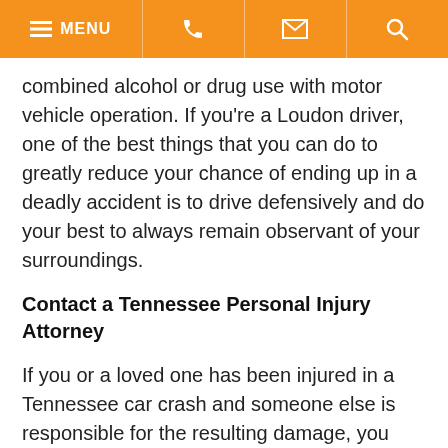MENU [phone] [email] [search]
combined alcohol or drug use with motor vehicle operation. If you’re a Loudon driver, one of the best things that you can do to greatly reduce your chance of ending up in a deadly accident is to drive defensively and do your best to always remain observant of your surroundings.
Contact a Tennessee Personal Injury Attorney
If you or a loved one has been injured in a Tennessee car crash and someone else is responsible for the resulting damage, you should not hesitate to speak a knowledgeable attorney. Contact Fox, Farley, & Burnette today to schedule a free case during evaluation, during which time our legal team can review your available options to pursue compensation.